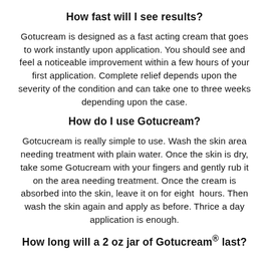How fast will I see results?
Gotucream is designed as a fast acting cream that goes to work instantly upon application. You should see and feel a noticeable improvement within a few hours of your first application. Complete relief depends upon the severity of the condition and can take one to three weeks depending upon the case.
How do I use Gotucream?
Gotcucream is really simple to use. Wash the skin area needing treatment with plain water. Once the skin is dry, take some Gotucream with your fingers and gently rub it on the area needing treatment. Once the cream is absorbed into the skin, leave it on for eight hours. Then wash the skin again and apply as before. Thrice a day application is enough.
How long will a 2 oz jar of Gotucream® last?